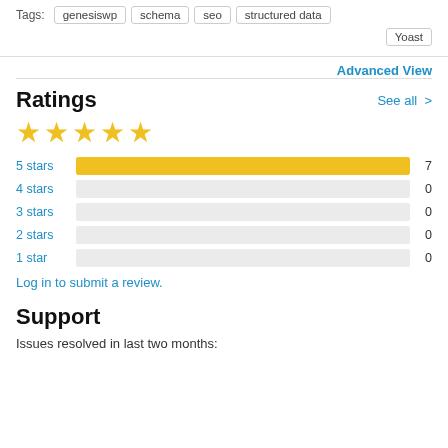Tags: genesiswp   schema   seo   structured data   Yoast
Advanced View
Ratings
See all >
[Figure (other): 5 gold stars rating]
[Figure (bar-chart): Ratings breakdown]
Log in to submit a review.
Support
Issues resolved in last two months: